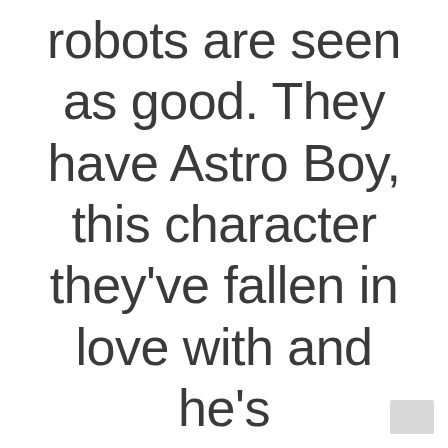robots are seen as good. They have Astro Boy, this character they've fallen in love with and he's fundamentally good, always